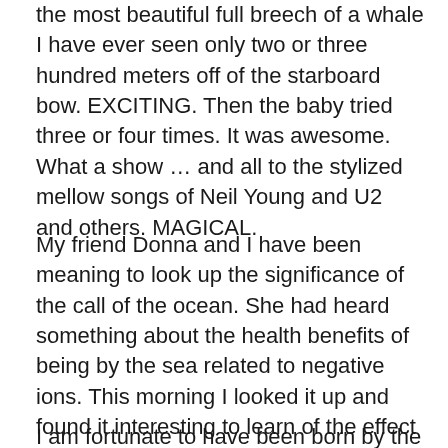the most beautiful full breech of a whale I have ever seen only two or three hundred meters off of the starboard bow. EXCITING. Then the baby tried three or four times. It was awesome. What a show … and all to the stylized mellow songs of Neil Young and U2 and others. MAGICAL.
My friend Donna and I have been meaning to look up the significance of the call of the ocean. She had heard something about the health benefits of being by the sea related to negative ions. This morning I looked it up and found it interesting to learn of the effect on mood and health by the negative charges released by crashing waves and water falls etc. Negative ions are the antidote to free radicals. Who knew? No wonder. The sea calls us to heal us from our modern lifestyles. How nice.
I am fortunate to have been born by the sea and to have